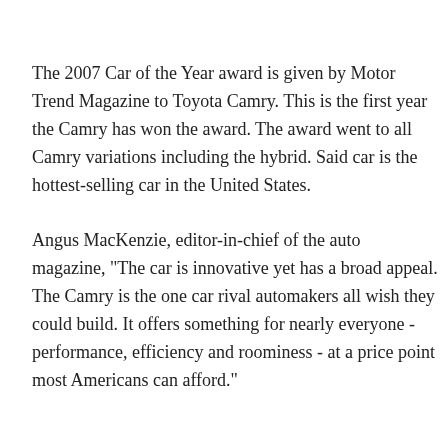The 2007 Car of the Year award is given by Motor Trend Magazine to Toyota Camry. This is the first year the Camry has won the award. The award went to all Camry variations including the hybrid. Said car is the hottest-selling car in the United States.
Angus MacKenzie, editor-in-chief of the auto magazine, "The car is innovative yet has a broad appeal. The Camry is the one car rival automakers all wish they could build. It offers something for nearly everyone - performance, efficiency and roominess - at a price point most Americans can afford."